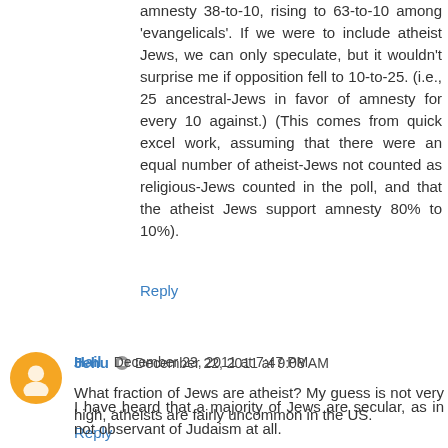amnesty 38-to-10, rising to 63-to-10 among 'evangelicals'. If we were to include atheist Jews, we can only speculate, but it wouldn't surprise me if opposition fell to 10-to-25. (i.e., 25 ancestral-Jews in favor of amnesty for every 10 against.) (This comes from quick excel work, assuming that there were an equal number of atheist-Jews not counted as religious-Jews counted in the poll, and that the atheist Jews support amnesty 80% to 10%).
Reply
Jehu  December 22, 2011 at 9:08 AM
What fraction of Jews are atheist? My guess is not very high, atheists are fairly uncommon in the US.
Reply
Hail  December 23, 2011 at 7:47 PM
I have heard that a majority of Jews are secular, as in not observant of Judaism at all.